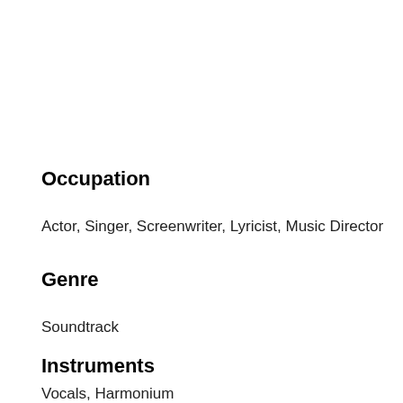Occupation
Actor, Singer, Screenwriter, Lyricist, Music Director
Genre
Soundtrack
Instruments
Vocals, Harmonium